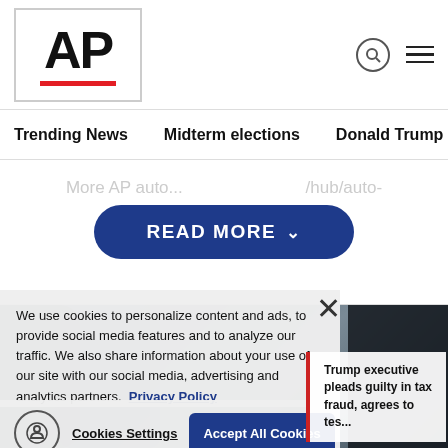[Figure (logo): AP (Associated Press) logo with red underbar]
Trending News   Midterm elections   Donald Trump   Russia-Ukr
More AP auto...  /hub/auto-
READ MORE ˅
[Figure (photo): Group of people, one wearing a blue cap and face mask, others surrounding him, appears to be a news scene]
We use cookies to personalize content and ads, to provide social media features and to analyze our traffic. We also share information about your use of our site with our social media, advertising and analytics partners. Privacy Policy
Cookies Settings   Accept All Cookies
Trump executive pleads guilty in tax fraud, agrees to tes...